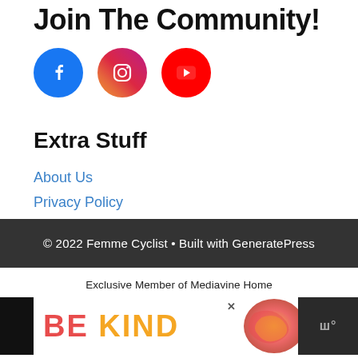Join The Community!
[Figure (illustration): Three social media icons: Facebook (blue circle), Instagram (gradient pink/purple circle), YouTube (red circle)]
Extra Stuff
About Us
Privacy Policy
© 2022 Femme Cyclist • Built with GeneratePress
Exclusive Member of Mediavine Home
[Figure (illustration): Advertisement banner with 'BE KIND' text and decorative swirl illustration, with close button and Wordmark logo on right]